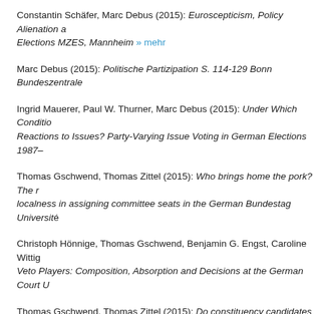Constantin Schäfer, Marc Debus (2015): Euroscepticism, Policy Alienation a... Elections MZES, Mannheim » mehr
Marc Debus (2015): Politische Partizipation S. 114-129 Bonn Bundeszentrale...
Ingrid Mauerer, Paul W. Thurner, Marc Debus (2015): Under Which Condition... Reactions to Issues? Party-Varying Issue Voting in German Elections 1987–...
Thomas Gschwend, Thomas Zittel (2015): Who brings home the pork? The r... localness in assigning committee seats in the German Bundestag Université...
Christoph Hönnige, Thomas Gschwend, Benjamin G. Engst, Caroline Wittig... Veto Players: Composition, Absorption and Decisions at the German Court U...
Thomas Gschwend, Thomas Zittel (2015): Do constituency candidates matte... Elections? The personal vote as an interactive process S. 338-349 » mehr
Christoph Hönnige, Benjamin G. Engst, Caroline Wittig, Thomas Gschwend... Institutional Features Empowering Judges as Policy Makers Chicago, IL » me...
Indridi H. Indridason, Thomas Gschwend (2015): Estimating Policy Perceptio... Coalition Policy Perceptions Vienna » mehr